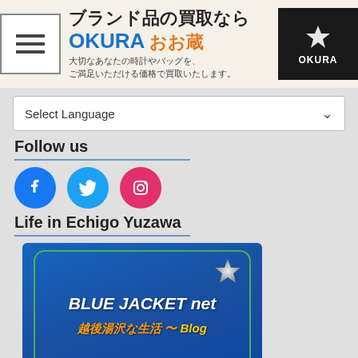[Figure (other): Website banner for OKURA brand buying service. Shows hamburger menu icon, Japanese text 'ブランド品の買取なら OKURA おお蔵', subtitle text in Japanese '大切なあなたの時計やバッグを、ご満足いただける価格で買取いたします。', and OKURA logo on dark background.]
Select Language
Follow us
[Figure (other): Row of three social media icons: Facebook (blue circle), Twitter (light blue circle), Instagram (pink/red circle)]
Life in Echigo Yuzawa
[Figure (other): BLUE JACKET net blog logo image on dark blue background with green rounded rectangle border. Text reads 'BLUE JACKET net' in white italic and '越後湯沢な生活 ～ Blog' in orange/yellow italic. Star decoration in top right.]
[Category]